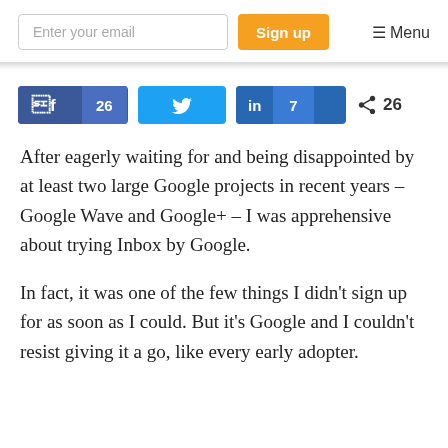Enter your email | Sign up | ☰ Menu
[Figure (infographic): Social share buttons: Facebook 26, Twitter, LinkedIn 7, Share 26]
After eagerly waiting for and being disappointed by at least two large Google projects in recent years – Google Wave and Google+ – I was apprehensive about trying Inbox by Google.
In fact, it was one of the few things I didn't sign up for as soon as I could. But it's Google and I couldn't resist giving it a go, like every early adopter.